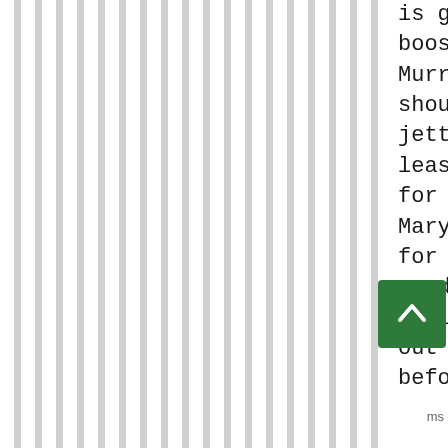[Figure (other): Vertical grey and white stripes pattern covering the left portion of the page]
is getting a big boost from Murray and should be jettisoned. At least Cliff went for the hail Mary (had time for two if needed) instead trying 15 yard out pattern before